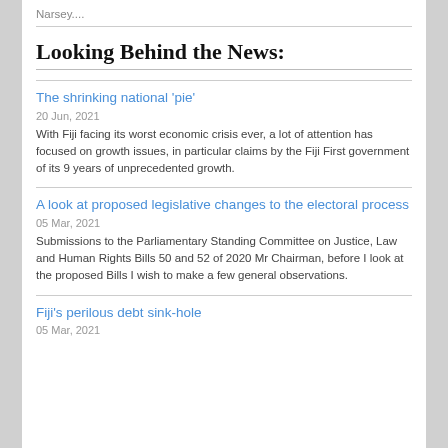Narsey....
Looking Behind the News:
The shrinking national 'pie'
20 Jun, 2021
With Fiji facing its worst economic crisis ever, a lot of attention has focused on growth issues, in particular claims by the Fiji First government of its 9 years of unprecedented growth.
A look at proposed legislative changes to the electoral process
05 Mar, 2021
Submissions to the Parliamentary Standing Committee on Justice, Law and Human Rights Bills 50 and 52 of 2020 Mr Chairman, before I look at the proposed Bills I wish to make a few general observations.
Fiji's perilous debt sink-hole
05 Mar, 2021